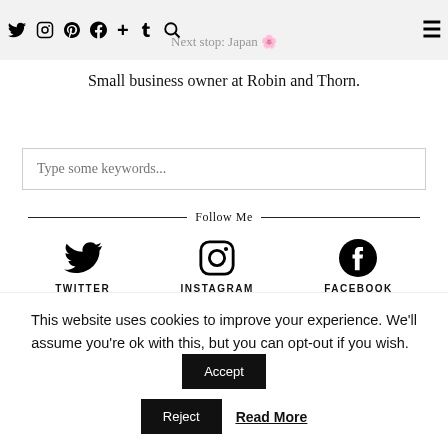Navigation bar with social icons (Twitter, Instagram, Pinterest, Facebook, Plus, Tumblr, Search) and hamburger menu. Subtitle: Next stop: Japan
Small business owner at Robin and Thorn.
Type some keywords...
Follow Me
[Figure (infographic): Three social media icons in a row: Twitter bird icon labeled TWITTER, Instagram camera icon labeled INSTAGRAM, Facebook 'f' icon labeled FACEBOOK]
[Figure (infographic): Second row of social icons partially visible: Plus icon, Pinterest icon, Tumblr icon]
This website uses cookies to improve your experience. We'll assume you're ok with this, but you can opt-out if you wish. Accept Reject Read More